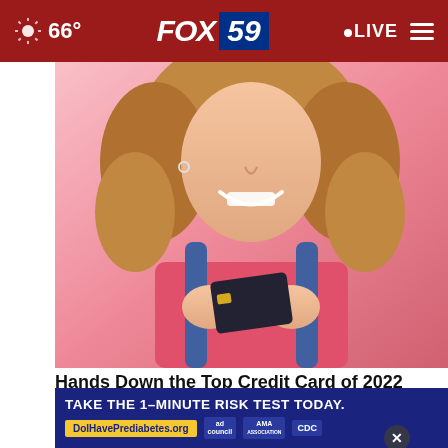66° FOX 59 LIVE
[Figure (photo): Woman with curly hair smiling and holding a black credit card close to her face, wearing a pink top and denim overalls, pink background]
Hands Down the Top Credit Card of 2022
CompareCredit
[Figure (photo): Close-up of feet/shoes on pavement]
[Figure (infographic): Advertisement: TAKE THE 1-MINUTE RISK TEST TODAY. DoIHavePrediabetes.org with ad council, AMA, and CDC logos]